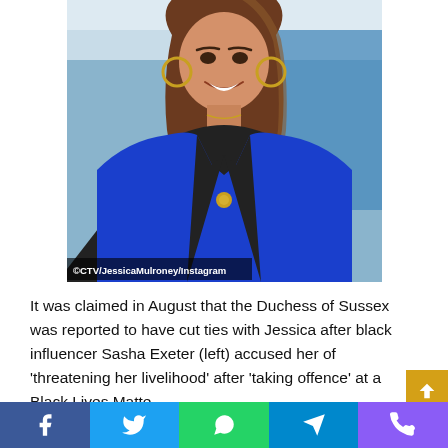[Figure (photo): A woman with long brown wavy hair wearing a royal blue blazer with black lapels and a gold button, gold hoop earrings, smiling. Background is blurred blue/grey office setting. Watermark reads © CTV/JessicaMulroney/Instagram]
© CTV/JessicaMulroney/Instagram
It was claimed in August that the Duchess of Sussex was reported to have cut ties with Jessica after black influencer Sasha Exeter (left) accused her of 'threatening her livelihood' after 'taking offence' at a Black Lives Matte